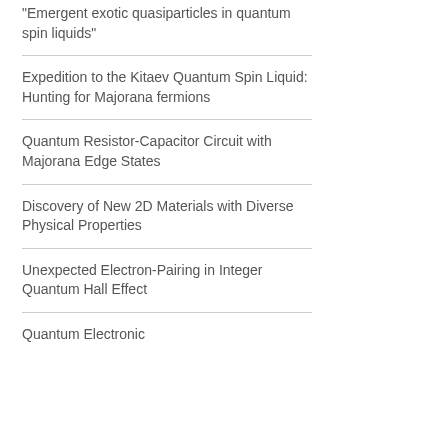“Emergent exotic quasiparticles in quantum spin liquids”
Expedition to the Kitaev Quantum Spin Liquid: Hunting for Majorana fermions
Quantum Resistor-Capacitor Circuit with Majorana Edge States
Discovery of New 2D Materials with Diverse Physical Properties
Unexpected Electron-Pairing in Integer Quantum Hall Effect
Quantum Electronic